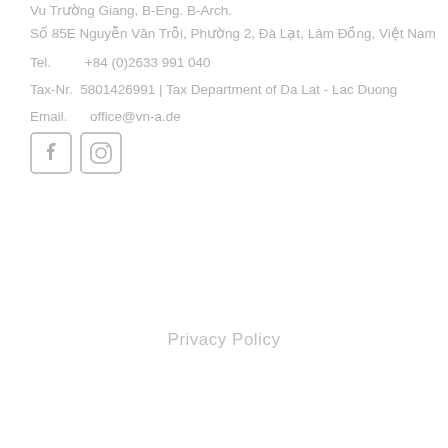Vu Truong Giang, B-Eng. B-Arch.
Số 85E Nguyễn Văn Trỗi, Phường 2, Đà Lạt, Lâm Đồng, Việt Nam
Tel.         +84 (0)2633 991 040
Tax-Nr.  5801426991 | Tax Department of Da Lat - Lac Duong
Email.      office@vn-a.de
[Figure (illustration): Facebook and Instagram social media icons (square outlined icons)]
Privacy Policy